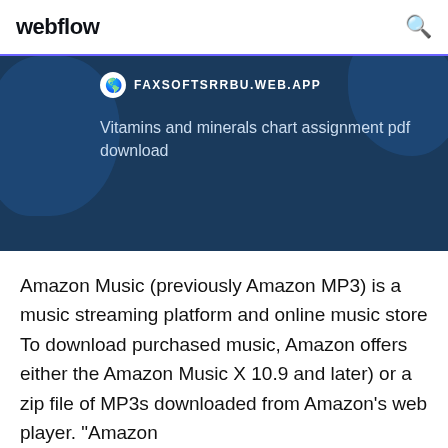webflow
[Figure (screenshot): Webflow website screenshot showing a banner with dark blue background, a site badge reading FAXSOFTSRRBU.WEB.APP with a globe icon, and a title 'Vitamins and minerals chart assignment pdf download']
Amazon Music (previously Amazon MP3) is a music streaming platform and online music store To download purchased music, Amazon offers either the Amazon Music X 10.9 and later) or a zip file of MP3s downloaded from Amazon's web player. "Amazon